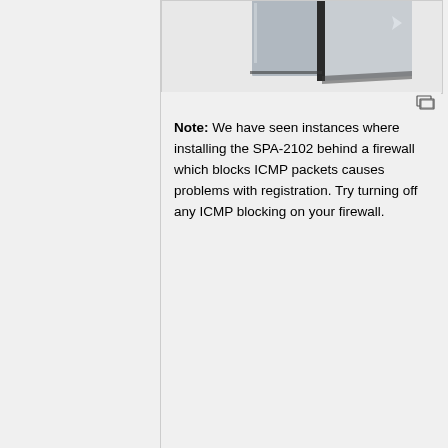[Figure (photo): Partial view of a Cisco SPA-2102 device (silver/gray hardware unit) shown from a 3D perspective angle, cropped at top]
Note: We have seen instances where installing the SPA-2102 behind a firewall which blocks ICMP packets causes problems with registration. Try turning off any ICMP blocking on your firewall.